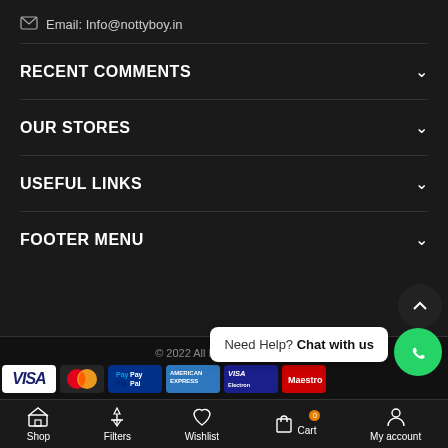Email: Info@nottyboy.in
RECENT COMMENTS
OUR STORES
USEFUL LINKS
FOOTER MENU
© 2022 All Rights Reserved.
[Figure (other): Payment method icons: VISA, MasterCard, PayPal, American Express, VISA Electron, Maestro]
Need Help? Chat with us
Shop | Filters | Wishlist | Cart | My account